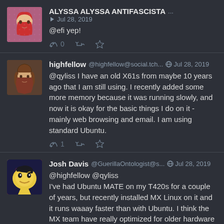[Figure (screenshot): Social media thread screenshot with three posts on dark background]
ALYSSA ALYSSA ANTIFASCISTA ... Jul 28, 2019
@efi yep!
0
highfellow @highfellow@social.tch... Jul 28, 2019
@qyliss I have an old X61s from maybe 10 years ago that I am still using. I recently added some more memory because it was running slowly, and now it is okay for the basic things I do on it - mainly web browsing and email. I am using standard Ubuntu.
1
Josh Davis @GuerillaOntologist@s... Jul 28, 2019
@highfellow @qyliss
I've had Ubuntu MATE on my T420s for a couple of years, but recently installed MX Linux on it and it runs waaay faster than with Ubuntu. I think the MX team have really optimized for older hardware